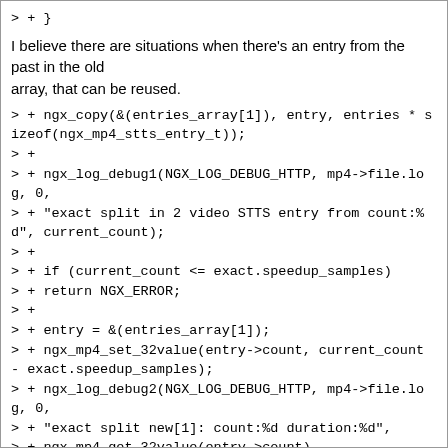> + }
I believe there are situations when there's an entry from the past in the old
array, that can be reused.
> + ngx_copy(&(entries_array[1]), entry, entries * sizeof(ngx_mp4_stts_entry_t));
> +
> + ngx_log_debug1(NGX_LOG_DEBUG_HTTP, mp4->file.log, 0,
> + "exact split in 2 video STTS entry from count:%d", current_count);
> +
> + if (current_count <= exact.speedup_samples)
> + return NGX_ERROR;
> +
> + entry = &(entries_array[1]);
> + ngx_mp4_set_32value(entry->count, current_count - exact.speedup_samples);
> + ngx_log_debug2(NGX_LOG_DEBUG_HTTP, mp4->file.log, 0,
> + "exact split new[1]: count:%d duration:%d",
> + ngx_mp4_get_32value(entry->count),
> + ngx_mp4_get_32value(entry->duration));